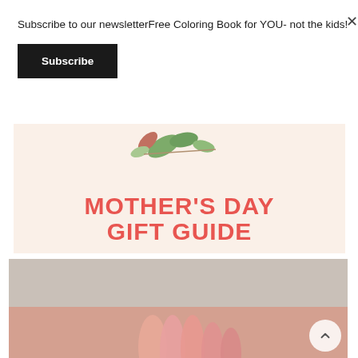Subscribe to our newsletterFree Coloring Book for YOU- not the kids!
Subscribe
[Figure (illustration): Banner with peach/cream background, botanical leaf illustration at top, large bold red/coral text reading MOTHER'S DAY GIFT GUIDE]
[Figure (photo): Partial photo showing hands or flowers against a neutral taupe/beige background with coral/pink tones at bottom]